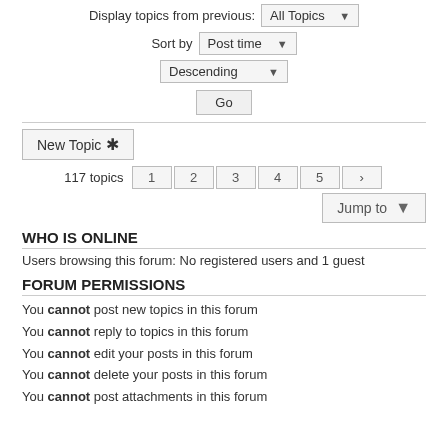Display topics from previous: All Topics
Sort by Post time
Descending
Go
New Topic *
117 topics 1 2 3 4 5 >
Jump to
WHO IS ONLINE
Users browsing this forum: No registered users and 1 guest
FORUM PERMISSIONS
You cannot post new topics in this forum
You cannot reply to topics in this forum
You cannot edit your posts in this forum
You cannot delete your posts in this forum
You cannot post attachments in this forum